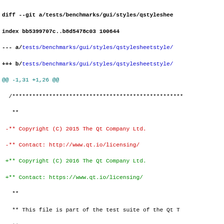diff --git a/tests/benchmarks/gui/styles/qstyleshee
index bb5399707c..b8d5478c03 100644
--- a/tests/benchmarks/gui/styles/qstylesheetstyle/
+++ b/tests/benchmarks/gui/styles/qstylesheetstyle/
@@ -1,31 +1,26 @@
  /***************************************************
   **
 -** Copyright (C) 2015 The Qt Company Ltd.
 -** Contact: http://www.qt.io/licensing/
 +** Copyright (C) 2016 The Qt Company Ltd.
 +** Contact: https://www.qt.io/licensing/
   **
   ** This file is part of the test suite of the Qt T
   **
 -** $QT_BEGIN_LICENSE:LGPL21$
 +** $QT_BEGIN_LICENSE:GPL-EXCEPT$
   ** Commercial License Usage
   ** Licensees holding valid commercial Qt licenses
   ** accordance with the commercial license agreemen
   ** Software or, alternatively, in accordance with
   ** a written agreement between you and The Qt Comp
 -** and conditions see http://www.qt.io/terms-condi
 -** information use the contact form at http://www.
 +** and conditions see https://www.qt.io/terms-cond
 +** information use the contact form at https://www
   **
 -** GNU Lesser General Public License Usage
 -** Alternatively, this file may be used under the
 -** General Public License version 2.1 or version 3
 -** Software Foundation and appearing in the file l